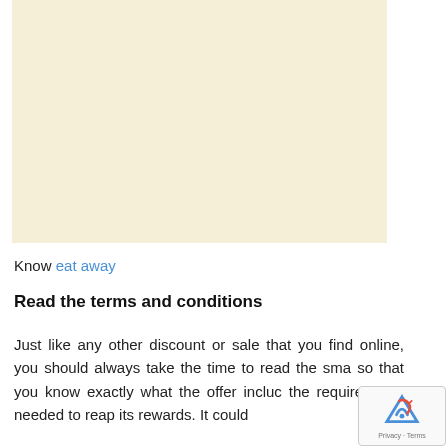[Figure (other): Blank cream/beige colored advertisement placeholder block]
Know eat away
Read the terms and conditions
Just like any other discount or sale that you find online, you should always take the time to read the sma so that you know exactly what the offer incluc the requirements needed to reap its rewards. It could